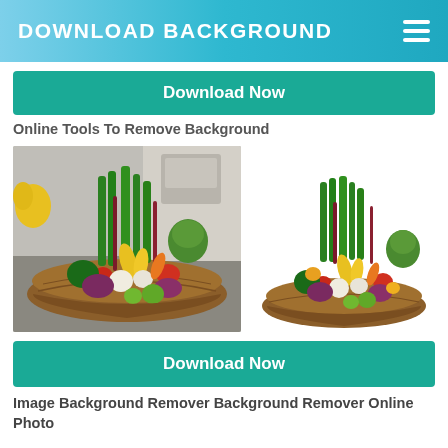DOWNLOAD BACKGROUND
Download Now
Online Tools To Remove Background
[Figure (photo): Two images side by side of a wicker boat-shaped basket filled with colorful vegetables including leeks, peppers, artichokes, corn, broccoli, and other produce. Left image shows original photo with background; right image shows the same basket with background removed (white/transparent).]
Download Now
Image Background Remover Background Remover Online Photo